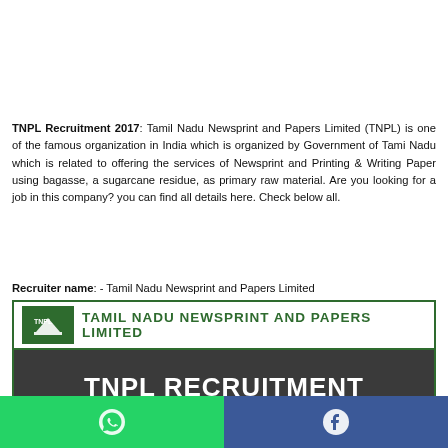TNPL Recruitment 2017: Tamil Nadu Newsprint and Papers Limited (TNPL) is one of the famous organization in India which is organized by Government of Tamil Nadu which is related to offering the services of Newsprint and Printing & Writing Paper using bagasse, a sugarcane residue, as primary raw material. Are you looking for a job in this company? you can find all details here. Check below all.
Recruiter name: - Tamil Nadu Newsprint and Papers Limited
[Figure (infographic): TNPL recruitment banner showing logo, company name, 'TNPL RECRUITMENT' heading, and post details: Assistant Officer, Junior Officer, Management Trainee]